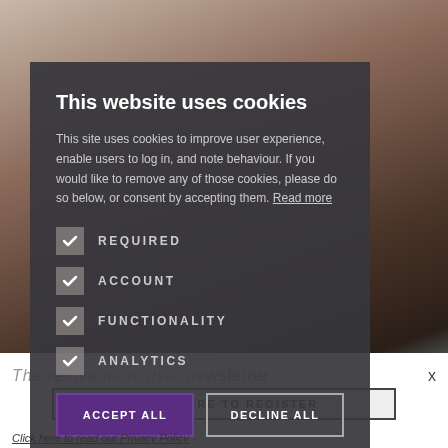[Figure (photo): Background photo showing people in a room, blurred]
This website uses cookies
This site uses cookies to improve user experience, enable users to log in, and note behaviour. If you would like to remove any of those cookies, please do so below, or consent by accepting them. Read more
REQUIRED
ACCOUNT
FUNCTIONALITY
ANALYTICS
ACCEPT ALL
DECLINE ALL
The reinvention style newsletter
CLICK HERE TO REGISTER
Click here to read our Privacy Policy